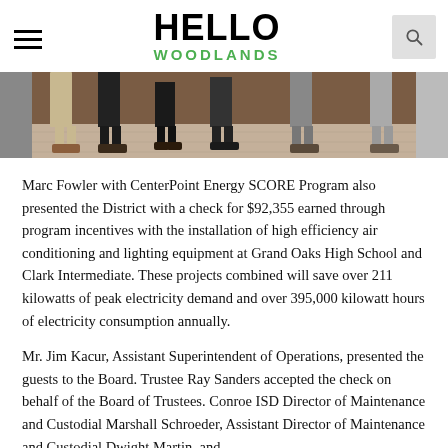HELLO WOODLANDS
[Figure (photo): Photo showing lower legs and feet of several people standing in a row against a wood-paneled wall on a patterned floor.]
Marc Fowler with CenterPoint Energy SCORE Program also presented the District with a check for $92,355 earned through program incentives with the installation of high efficiency air conditioning and lighting equipment at Grand Oaks High School and Clark Intermediate. These projects combined will save over 211 kilowatts of peak electricity demand and over 395,000 kilowatt hours of electricity consumption annually.
Mr. Jim Kacur, Assistant Superintendent of Operations, presented the guests to the Board. Trustee Ray Sanders accepted the check on behalf of the Board of Trustees. Conroe ISD Director of Maintenance and Custodial Marshall Schroeder, Assistant Director of Maintenance and Custodial Dwight Martin, and